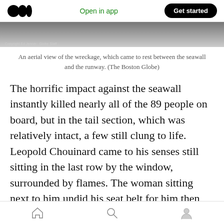Open in app | Get started
[Figure (photo): Aerial view of wreckage between seawall and runway, black and white photograph, partially visible at top of page with copyright credit 'Copyright Ed Jenner - Globe Staff']
An aerial view of the wreckage, which came to rest between the seawall and the runway. (The Boston Globe)
The horrific impact against the seawall instantly killed nearly all of the 89 people on board, but in the tail section, which was relatively intact, a few still clung to life. Leopold Chouinard came to his senses still sitting in the last row by the window, surrounded by flames. The woman sitting next to him undid his seat belt for him then disappeared into the inferno, leaving him to drag himself out through a hole and onto the debris-strewn
Home | Search | Profile